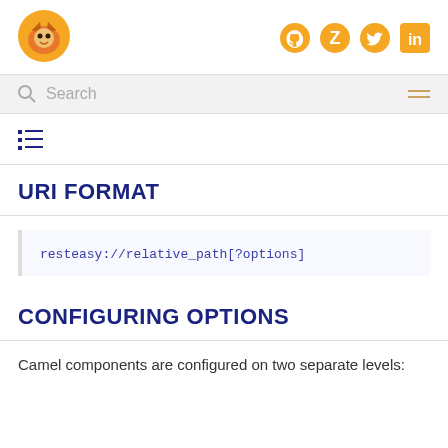[Figure (logo): Orange wolf/fox logo on white background]
[Figure (logo): Orange social media icons: GitHub, Zulip, Twitter, LinkedIn]
Search
[Figure (other): TOC list icon]
URI FORMAT
CONFIGURING OPTIONS
Camel components are configured on two separate levels: